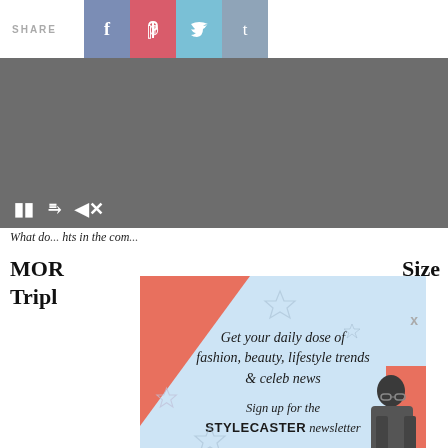SHARE
[Figure (screenshot): Video player area with dark grey background and playback controls (pause, expand, mute buttons)]
What do... hts in the com...
MOR... Size Tripl...
[Figure (screenshot): Stylecaster newsletter signup modal overlay with coral/red corner, light blue background, fashion photo, headline 'Get your daily dose of fashion, beauty, lifestyle trends & celeb news', Sign up for the STYLECASTER newsletter, email input and SIGN UP button, decorative stars, and X close button]
[Figure (screenshot): Bottom social share bar with Facebook, Pinterest, Twitter, Tumblr icons and a comments/share count button showing 1]
TAGS: BANANA REPUBLIC, EXPRESS, GAP, J.CREW, ONLINE SHOPPING
[Figure (illustration): Geometric hexagon/cube pattern in grey tones at bottom of page]